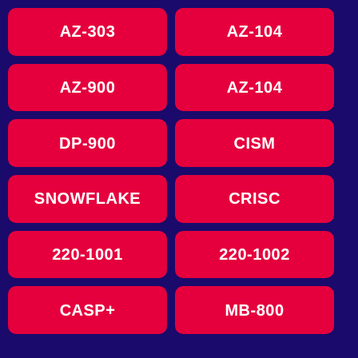AZ-303
AZ-104
AZ-900
AZ-104
DP-900
CISM
SNOWFLAKE
CRISC
220-1001
220-1002
CASP+
MB-800